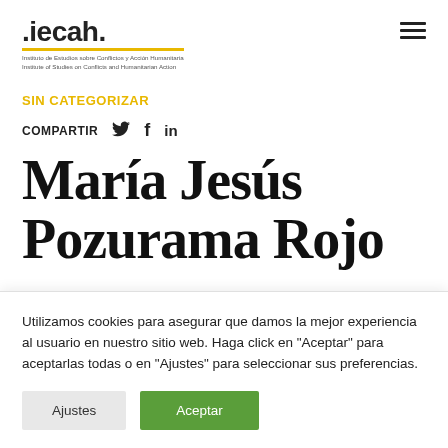.iecah. Instituto de Estudios sobre Conflictos y Acción Humanitaria / Institute of Studies on Conflicts and Humanitarian Action
SIN CATEGORIZAR
COMPARTIR 🐦 f in
María Jesús Pozurama Rojo
Utilizamos cookies para asegurar que damos la mejor experiencia al usuario en nuestro sitio web. Haga click en "Aceptar" para aceptarlas todas o en "Ajustes" para seleccionar sus preferencias.